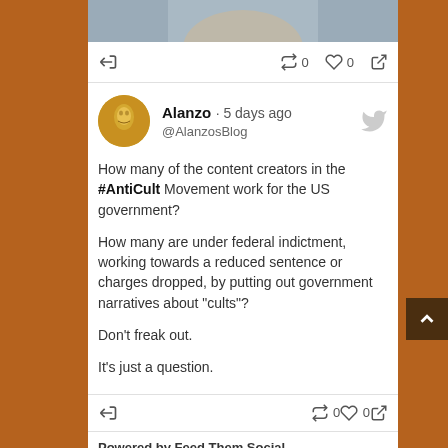[Figure (photo): Partial top of a photo showing person, cropped at top of card]
Reply 0 retweets 0 likes Share
Alanzo · 5 days ago @AlanzosBlog
How many of the content creators in the #AntiCult Movement work for the US government?

How many are under federal indictment, working towards a reduced sentence or charges dropped, by putting out government narratives about "cults"?

Don't freak out.

It's just a question.
Reply 0 retweets 0 likes Share
Powered by Feed Them Social